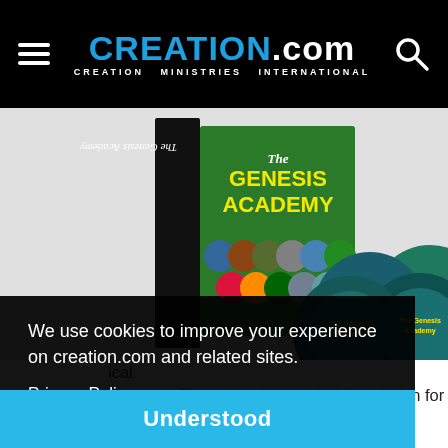CREATION.com — CREATION MINISTRIES INTERNATIONAL
[Figure (photo): Photo of 'The Genesis Academy' DVD box set with multiple DVDs spread out, showing the book spine and front cover on a light gray background]
We use cookies to improve your experience on creation.com and related sites.
Privacy Policy
Understood
ical chapters. The series lays a vital foundation for